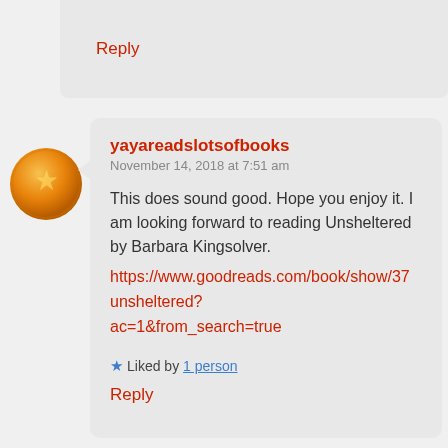Reply
[Figure (illustration): Round orange avatar with gold star pattern for user yayareadslotsofbooks]
yayareadslotsofbooks
November 14, 2018 at 7:51 am

This does sound good. Hope you enjoy it. I am looking forward to reading Unsheltered by Barbara Kingsolver.
https://www.goodreads.com/book/show/37 unsheltered? ac=1&from_search=true

★ Liked by 1 person

Reply